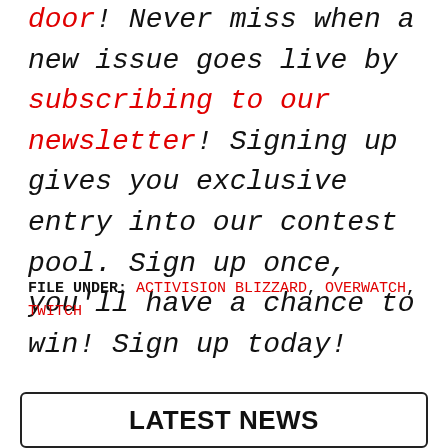door! Never miss when a new issue goes live by subscribing to our newsletter! Signing up gives you exclusive entry into our contest pool. Sign up once, you'll have a chance to win! Sign up today!
FILE UNDER: ACTIVISION BLIZZARD, OVERWATCH, TWITCH
LATEST NEWS